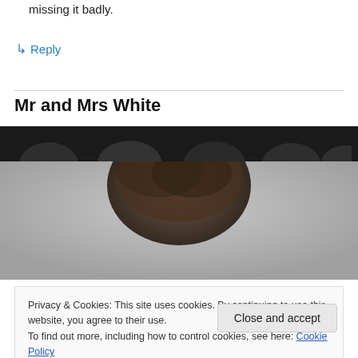missing it badly.
↳ Reply
Mr and Mrs White
[Figure (photo): A row of partially visible people heads at the top of a photo strip, shown from forehead/hair only against a dark background]
[Figure (photo): A person with dark hair, photo cropped to show top of head and hair, blurred/out of focus, against a light grey background]
Privacy & Cookies: This site uses cookies. By continuing to use this website, you agree to their use.
To find out more, including how to control cookies, see here: Cookie Policy
Close and accept